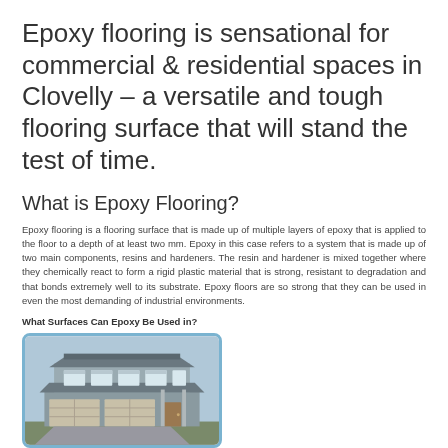Epoxy flooring is sensational for commercial & residential spaces in Clovelly – a versatile and tough flooring surface that will stand the test of time.
What is Epoxy Flooring?
Epoxy flooring is a flooring surface that is made up of multiple layers of epoxy that is applied to the floor to a depth of at least two mm. Epoxy in this case refers to a system that is made up of two main components, resins and hardeners. The resin and hardener is mixed together where they chemically react to form a rigid plastic material that is strong, resistant to degradation and that bonds extremely well to its substrate. Epoxy floors are so strong that they can be used in even the most demanding of industrial environments.
What Surfaces Can Epoxy Be Used in?
[Figure (photo): A modern two-storey residential house with a garage, shown inside a rounded blue-bordered frame.]